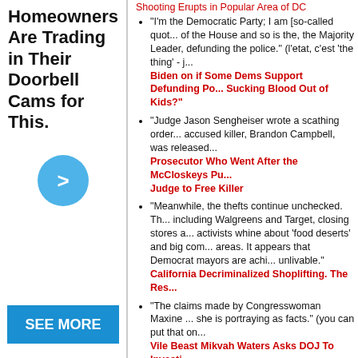[Figure (other): Advertisement showing text 'Homeowners Are Trading in Their Doorbell Cams for This.' with a blue circular arrow button and a blue 'SEE MORE' button.]
"I'm the Democratic Party; I am [so-called quote] of the House and so is the, the Majority Leader, defunding the police." (l'etat, c'est 'the thing' - j... Biden on if Some Dems Support Defunding Po... Sucking Blood Out of Kids?"
"Judge Jason Sengheiser wrote a scathing order... accused killer, Brandon Campbell, was released... Prosecutor Who Went After the McCloskeys Pu... Judge to Free Killer
"Meanwhile, the thefts continue unchecked. Th... including Walgreens and Target, closing stores a... activists whine about 'food deserts' and big com... areas. It appears that Democrat mayors are achi... unlivable." California Decriminalized Shoplifting. The Res...
"The claims made by Congresswoman Maxine ... she is portraying as facts." (you can put that on... Vile Beast Mikvah Waters Asks DOJ To Investi... Deputies Within L.A. County Sheriff's Dept.
Thank you, feminism. The emasculated capons... have come home to roost. This sicko is surely m... BUSTED: 'Incel' Creep Planned to Murder 3,00...
CHINESE CORONAVIRUS FICTIONS, FACTS...
"The head of America's anti- [Chinese] COVID ... Americans and lied to Congress." Yes -- Fausti Fauci Must Go
Oh, GFY you old bat. How much did the Junta... AL Gov. Ivey: "It's Time to Start Blaming the...